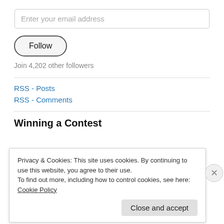Enter your email address
Follow
Join 4,202 other followers
RSS - Posts
RSS - Comments
Winning a Contest
Privacy & Cookies: This site uses cookies. By continuing to use this website, you agree to their use.
To find out more, including how to control cookies, see here: Cookie Policy
Close and accept